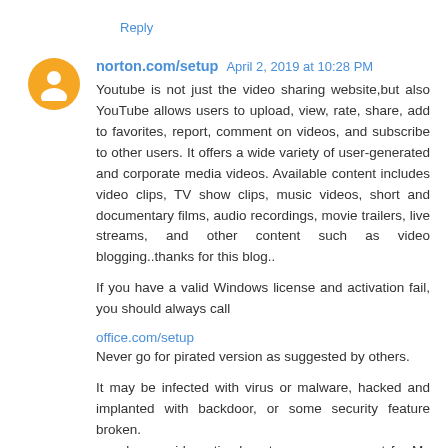Reply
norton.com/setup  April 2, 2019 at 10:28 PM
Youtube is not just the video sharing website,but also YouTube allows users to upload, view, rate, share, add to favorites, report, comment on videos, and subscribe to other users. It offers a wide variety of user-generated and corporate media videos. Available content includes video clips, TV show clips, music videos, short and documentary films, audio recordings, movie trailers, live streams, and other content such as video blogging..thanks for this blog..
If you have a valid Windows license and activation fail, you should always call
office.com/setup
Never go for pirated version as suggested by others.
It may be infected with virus or malware, hacked and implanted with backdoor, or some security feature broken.
we also provide optimal customer care support for Ms office related issues such as Ms office product-key Activation and